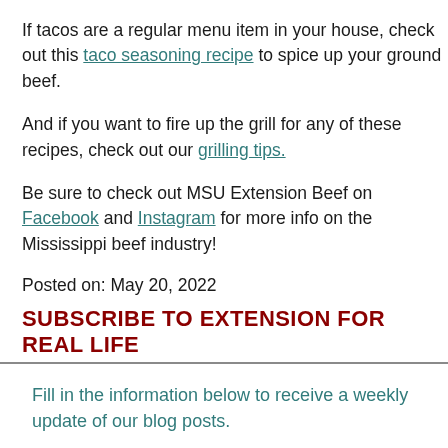If tacos are a regular menu item in your house, check out this taco seasoning recipe to spice up your ground beef.
And if you want to fire up the grill for any of these recipes, check out our grilling tips.
Be sure to check out MSU Extension Beef on Facebook and Instagram for more info on the Mississippi beef industry!
Posted on: May 20, 2022
SUBSCRIBE TO EXTENSION FOR REAL LIFE
Fill in the information below to receive a weekly update of our blog posts.